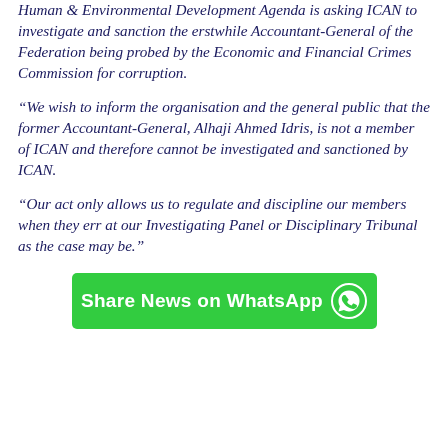Human & Environmental Development Agenda is asking ICAN to investigate and sanction the erstwhile Accountant-General of the Federation being probed by the Economic and Financial Crimes Commission for corruption.
“We wish to inform the organisation and the general public that the former Accountant-General, Alhaji Ahmed Idris, is not a member of ICAN and therefore cannot be investigated and sanctioned by ICAN.
“Our act only allows us to regulate and discipline our members when they err at our Investigating Panel or Disciplinary Tribunal as the case may be.”
[Figure (other): Green WhatsApp share button with WhatsApp logo icon and text 'Share News on WhatsApp']